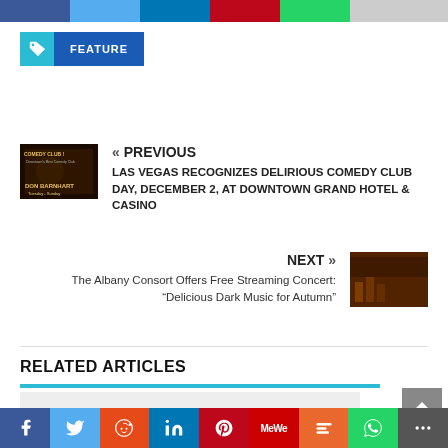[Figure (screenshot): Top social sharing bar (partial/cropped) with Facebook, Twitter, LinkedIn, Pinterest, WhatsApp icons]
FEATURE
« PREVIOUS
LAS VEGAS RECOGNIZES DELIRIOUS COMEDY CLUB DAY, DECEMBER 2, AT DOWNTOWN GRAND HOTEL & CASINO
[Figure (photo): Thumbnail of Don Barnhart comedy club promotional image]
NEXT »
The Albany Consort Offers Free Streaming Concert: “Delicious Dark Music for Autumn”
[Figure (photo): Thumbnail of Albany Consort concert promotional image]
RELATED ARTICLES
[Figure (screenshot): Bottom social sharing bar with Facebook, Twitter, Reddit, LinkedIn, Pinterest, MeWe, Mix, WhatsApp, More icons]